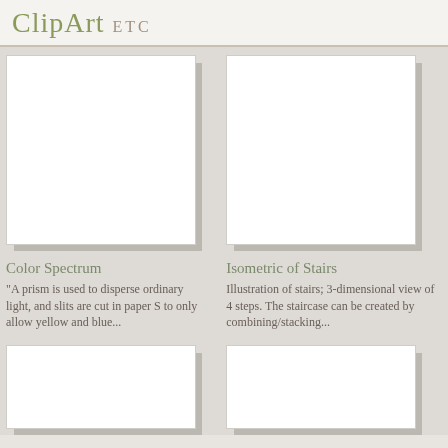ClipArt ETC
[Figure (illustration): White empty image placeholder box with shadow, for Color Spectrum clipart]
Color Spectrum
"A prism is used to disperse ordinary light, and slits are cut in paper S to only allow yellow and blue...
[Figure (illustration): White empty image placeholder box with shadow, for Isometric of Stairs clipart]
Isometric of Stairs
Illustration of stairs; 3-dimensional view of 4 steps. The staircase can be created by combining/stacking...
[Figure (illustration): White empty image placeholder box with shadow, bottom left card]
[Figure (illustration): White empty image placeholder box with shadow, bottom right card]